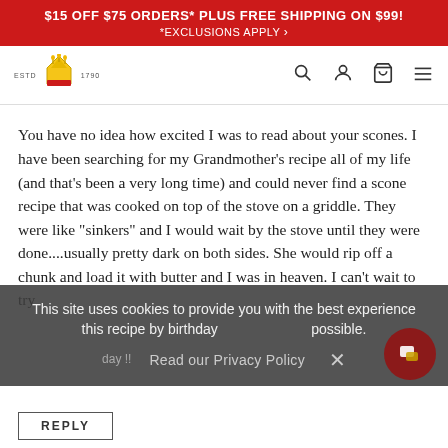$15 OFF $75 ORDERS* PLUS FREE SHIPPING ON $99! *EXCLUSIONS APPLY >
[Figure (logo): King Arthur Flour logo with crown/wheat icon and ESTD 1790 text, plus navigation icons (search, account, cart, menu)]
You have no idea how excited I was to read about your scones. I have been searching for my Grandmother's recipe all of my life (and that's been a very long time) and could never find a scone recipe that was cooked on top of the stove on a griddle. They were like "sinkers" and I would wait by the stove until they were done....usually pretty dark on both sides. She would rip off a chunk and load it with butter and I was in heaven. I can't wait to try this recipe by birthday day !!
This site uses cookies to provide you with the best experience possible.
Read our Privacy Policy  ×